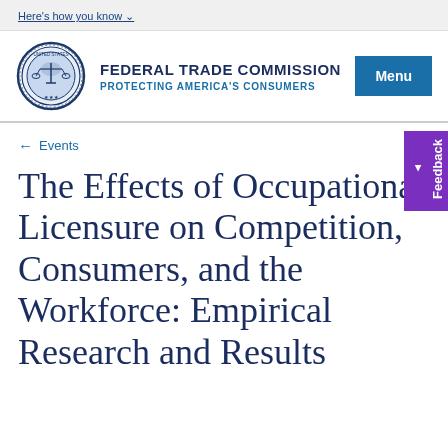Here's how you know
[Figure (logo): Federal Trade Commission seal/logo — circular blue seal with scales of justice]
FEDERAL TRADE COMMISSION
PROTECTING AMERICA'S CONSUMERS
Menu
← Events
The Effects of Occupational Licensure on Competition, Consumers, and the Workforce: Empirical Research and Results
Feedback